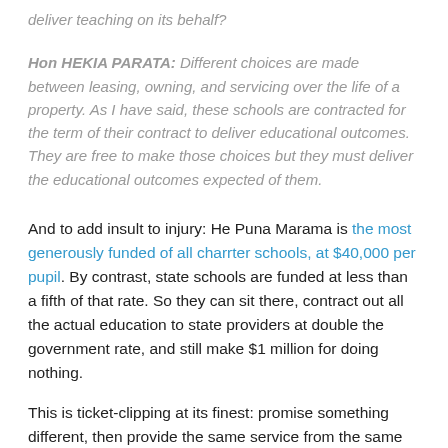deliver teaching on its behalf?
Hon HEKIA PARATA: Different choices are made between leasing, owning, and servicing over the life of a property. As I have said, these schools are contracted for the term of their contract to deliver educational outcomes. They are free to make those choices but they must deliver the educational outcomes expected of them.
And to add insult to injury: He Puna Marama is the most generously funded of all charrter schools, at $40,000 per pupil. By contrast, state schools are funded at less than a fifth of that rate. So they can sit there, contract out all the actual education to state providers at double the government rate, and still make $1 million for doing nothing.
This is ticket-clipping at its finest: promise something different, then provide the same service from the same institutions, just with a crony middleman inserted into the